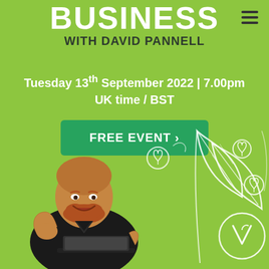BUSINESS WITH DAVID PANNELL
Tuesday 13th September 2022 | 7.00pm UK time / BST
FREE EVENT >
[Figure (illustration): A bald man with a red beard wearing a black t-shirt, smiling and sitting with a laptop, with white line art illustrations of plants and vegan symbols in the background on a lime green background.]